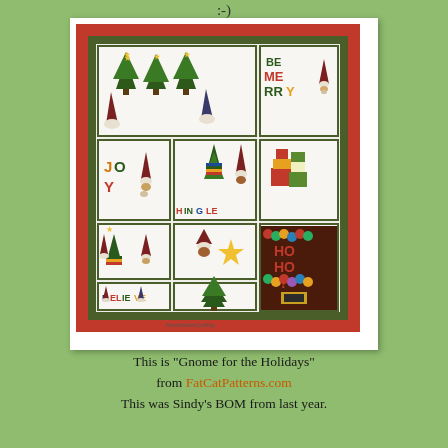:-)
[Figure (photo): A Christmas quilt called 'Gnome for the Holidays' featuring multiple blocks with gnomes, Christmas trees, colorful letters spelling JOY, JINGLE, BE MERRY, BELIEVE, and HO HO HO, along with stars and holiday gifts. The quilt has a red and dark green border. Watermark reads MooreStachQuilting.]
This is "Gnome for the Holidays" from FatCatPatterns.com This was Sindy's BOM from last year. Isn't it just the cutest?